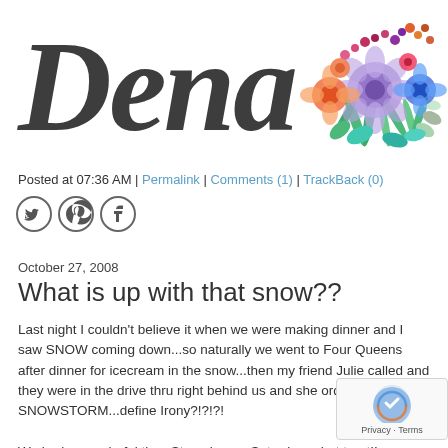[Figure (illustration): Blog header with large script/calligraphy text 'Dena' in dark charcoal ink style on left, and colorful watercolor floral bouquet on right side]
Posted at 07:36 AM | Permalink | Comments (1) | TrackBack (0)
[Figure (illustration): Three social media circular icon buttons: Twitter (bird), Pinterest (P), Facebook (f)]
October 27, 2008
What is up with that snow??
Last night I couldn't believe it when we were making dinner and I saw SNOW coming down...so naturally we went to Four Queens after dinner for icecream in the snow...then my friend Julie called and they were in the drive thru right behind us and she ord SNOWSTORM...define Irony?!?!?!
We had a wonderful time Stamping on Saturday, what treat!!